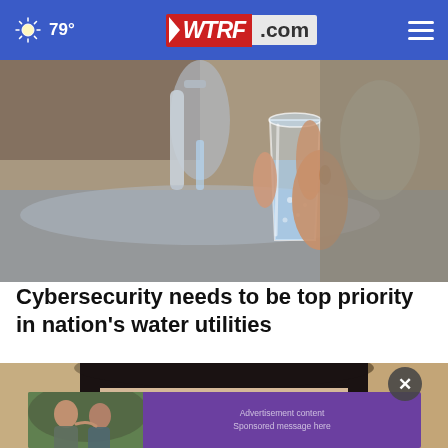79° WTRF.com
[Figure (photo): A hand holding a glass of water being filled from a kitchen faucet, stainless steel sink visible in background]
Cybersecurity needs to be top priority in nation's water utilities
[Figure (photo): Close-up of a woman's eyes and forehead with dark hair]
[Figure (photo): Advertisement overlay showing two men and a purple banner]